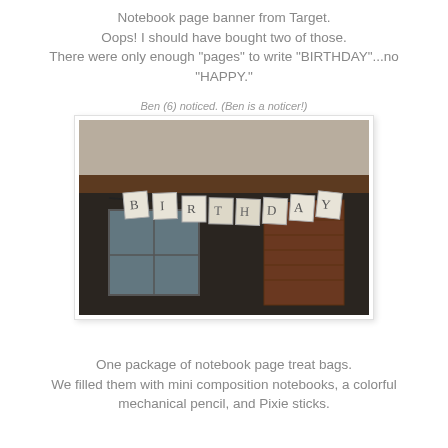Notebook page banner from Target. Oops! I should have bought two of those. There were only enough "pages" to write "BIRTHDAY"...no "HAPPY."
Ben (6) noticed. (Ben is a noticer!)
[Figure (photo): A dimly lit indoor photo showing small notebook-page shaped banners spelling 'BIRTHDAY' hung on a string, with a brick fireplace and window visible in the background.]
One package of notebook page treat bags. We filled them with mini composition notebooks, a colorful mechanical pencil, and Pixie sticks.